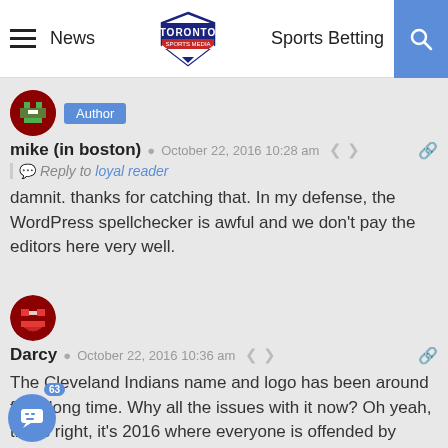News | Toronto Sports Media | Sports Betting
[Figure (screenshot): Toronto Sports Media website header with hamburger menu, News link, logo, Sports Betting link, and search button]
mike (in boston)  October 22, 2016 10:28 am
Reply to loyal reader
damnit. thanks for catching that. In my defense, the WordPress spellchecker is awful and we don't pay the editors here very well.
Darcy  October 22, 2016 10:36 am
The Cleveland Indians name and logo has been around for a long time. Why all the issues with it now? Oh yeah, that's right, it's 2016 where everyone is offended by everything.  While I don't agree with everything Bob McCown says, he was bang on